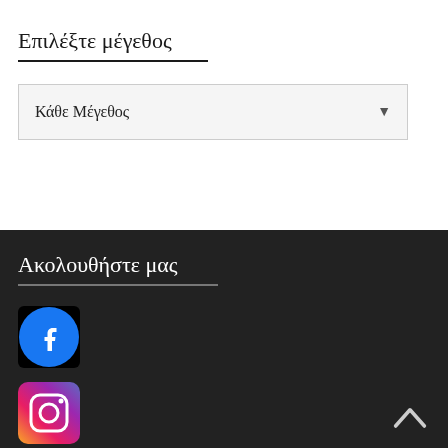Επιλέξτε μέγεθος
Κάθε Μέγεθος
Ακολουθήστε μας
[Figure (logo): Facebook logo icon - blue circle with white f]
[Figure (logo): Instagram logo icon - gradient purple/pink/orange square with camera outline]